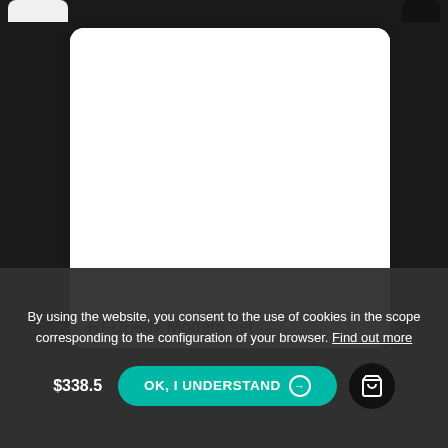[Figure (screenshot): Partial view of a product card with white background and rounded corners, showing a blank white image area above a product title]
RFD868x Modem set
By using the website, you consent to the use of cookies in the scope corresponding to the configuration of your browser. Find out more
OK, I UNDERSTAND →
$338.5